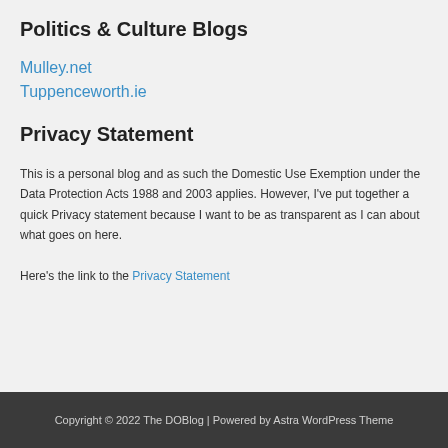Politics & Culture Blogs
Mulley.net
Tuppenceworth.ie
Privacy Statement
This is a personal blog and as such the Domestic Use Exemption under the Data Protection Acts 1988 and 2003 applies. However, I've put together a quick Privacy statement because I want to be as transparent as I can about what goes on here.
Here's the link to the Privacy Statement
Copyright © 2022 The DOBlog | Powered by Astra WordPress Theme